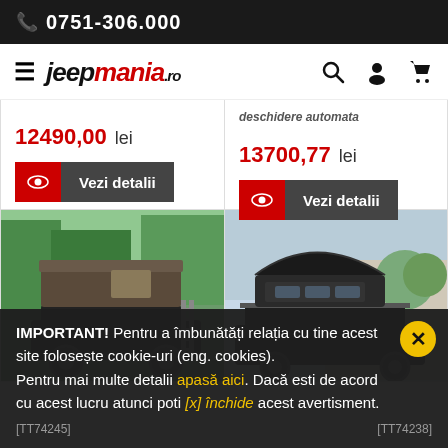☎ 0751-306.000
[Figure (logo): Jeepmania.ro logo with hamburger menu and nav icons]
deschidere automata
12490,00 lei
13700,77 lei
Vezi detalii
Vezi detalii
[Figure (photo): Roof tent on black SUV/Jeep with ladder, outdoor trees background]
[Figure (photo): Hardshell roof tent open on black SUV in suburban driveway]
IMPORTANT! Pentru a îmbunătăți relația cu tine acest site folosește cookie-uri (eng. cookies). Pentru mai multe detalii apasă aici. Dacă esti de acord cu acest lucru atunci poti [x] închide acest avertisment.
[TT74245]
[TT74238]